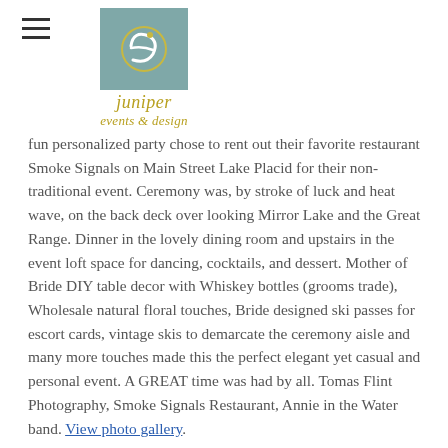juniper events & design
fun personalized party chose to rent out their favorite restaurant Smoke Signals on Main Street Lake Placid for their non-traditional event. Ceremony was, by stroke of luck and heat wave, on the back deck over looking Mirror Lake and the Great Range. Dinner in the lovely dining room and upstairs in the event loft space for dancing, cocktails, and dessert. Mother of Bride DIY table decor with Whiskey bottles (grooms trade), Wholesale natural floral touches, Bride designed ski passes for escort cards, vintage skis to demarcate the ceremony aisle and many more touches made this the perfect elegant yet casual and personal event. A GREAT time was had by all. Tomas Flint Photography, Smoke Signals Restaurant, Annie in the Water band. View photo gallery.